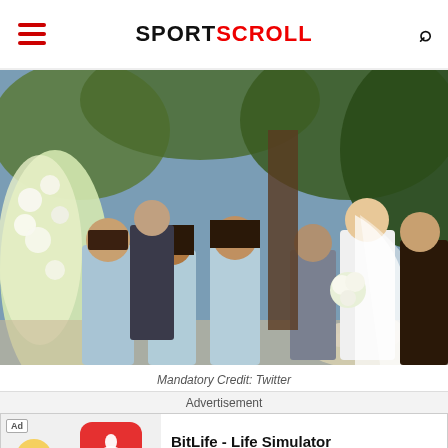SPORTSCROLL
[Figure (photo): Outdoor wedding ceremony scene with bridesmaids in light blue dresses, groomsmen in suits, and a bride in white gown with long veil holding a bouquet, surrounded by white floral arrangements.]
Mandatory Credit: Twitter
Advertisement
[Figure (other): Advertisement banner for BitLife - Life Simulator app with red icon featuring a sperm emoji logo, cartoon character on the left, and Install button on the right.]